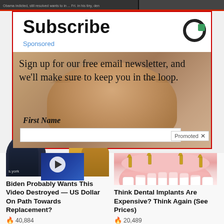[Figure (screenshot): Top strip with dark news headlines partially visible]
Subscribe
Sponsored
[Figure (photo): Logo icon resembling Taboola circular logo in top right of subscribe box]
Sign up for our free email newsletter, and we'll make sure to keep you in the loop.
First Name
Promoted X
[Figure (screenshot): Thumbnail of man in suit in front of NYSE screen with play button overlay]
Biden Probably Wants This Video Destroyed — US Dollar On Path Towards Replacement?
🔥 40,884
[Figure (illustration): Dental implants illustration showing lower jaw with implant screws and white teeth on pink gum]
Think Dental Implants Are Expensive? Think Again (See Prices)
🔥 20,489